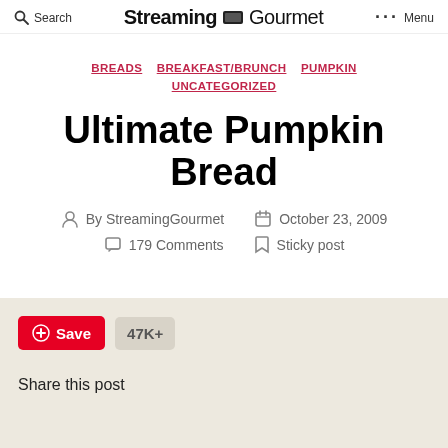Search  Streaming Gourmet  Menu
BREADS  BREAKFAST/BRUNCH  PUMPKIN  UNCATEGORIZED
Ultimate Pumpkin Bread
By StreamingGourmet  October 23, 2009
179 Comments  Sticky post
Save  47K+
Share this post